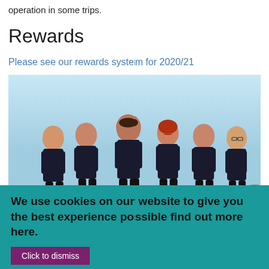operation in some trips.
Rewards
Please see our rewards system for 2020/21
[Figure (photo): Six teenagers in black sportswear standing together outdoors against a blue sky with trees in background]
We use cookies on our website to give you the best experience possible find out more here.
Click to dismiss